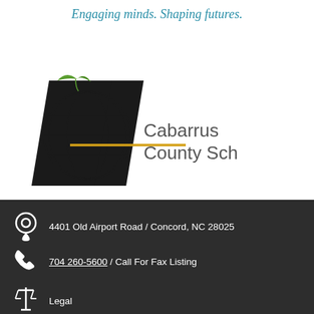Engaging minds. Shaping futures.
[Figure (logo): Cabarrus County Schools logo with globe, checkmark/arrow shape, green leaf, and gold horizontal line with text 'Cabarrus County Schools']
4401 Old Airport Road / Concord, NC 28025
704 260-5600 / Call For Fax Listing
Legal